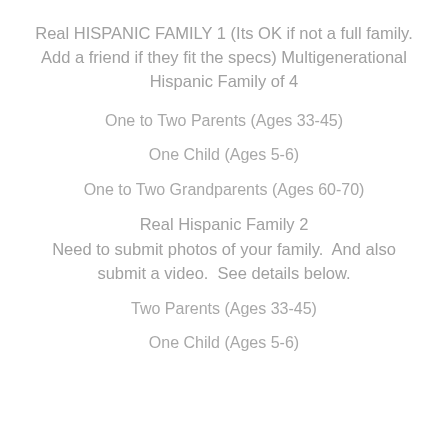Real HISPANIC FAMILY 1 (Its OK if not a full family. Add a friend if they fit the specs) Multigenerational Hispanic Family of 4
One to Two Parents (Ages 33-45)
One Child (Ages 5-6)
One to Two Grandparents (Ages 60-70)
Real Hispanic Family 2
Need to submit photos of your family.  And also submit a video.  See details below.
Two Parents (Ages 33-45)
One Child (Ages 5-6)